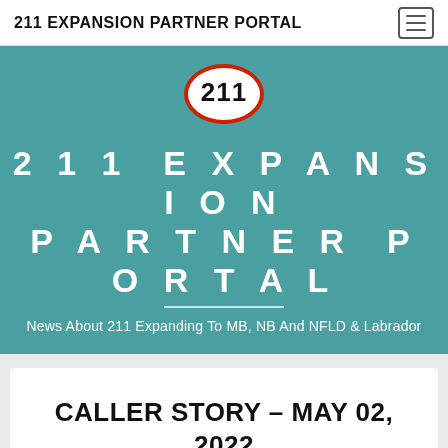211 EXPANSION PARTNER PORTAL
[Figure (logo): 211 logo — oval white background with red border, bold '211' text inside]
211 EXPANSION PARTNER PORTAL
News About 211 Expanding To MB, NB And NFLD & Labrador
CALLER STORY – MAY 02, 2022